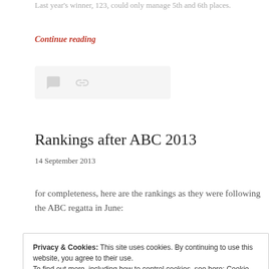Last year's winner, 123, could only manage 5th and 6th places.
Continue reading
Rankings after ABC 2013
14 September 2013
for completeness, here are the rankings as they were following the ABC regatta in June:
Privacy & Cookies: This site uses cookies. By continuing to use this website, you agree to their use. To find out more, including how to control cookies, see here: Cookie Policy
Close and accept